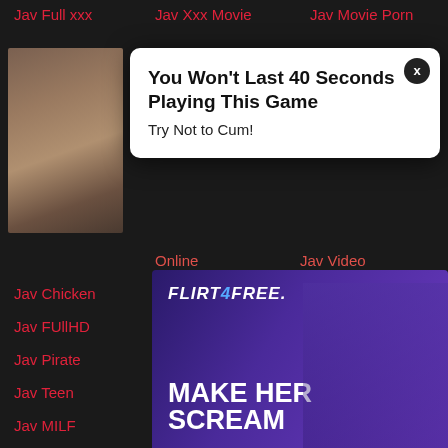Jav Full xxx
Jav Xxx Movie
Jav Movie Porn
[Figure (photo): Thumbnail image of two people]
[Figure (screenshot): Popup ad: You Won't Last 40 Seconds Playing This Game - Try Not to Cum! with X close button]
Online
Jav Video
Jav Chicken
PornJP
Japan sex full
Jav FUllHD
Jav sex Japan
Drama JAV
Jav Pirate
Jav Fun
Jav JavHD
Jav Teen
Javpan
Jav Tube
Jav MILF
Jav Movie Free
Gfycat
Jav Uncensored
[Figure (photo): Flirt4Free advertisement banner with MAKE HER SCREAM text and woman figure]